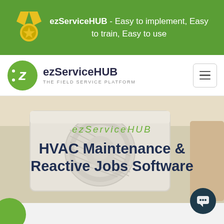[Figure (screenshot): Green top banner with medal icon and text: ezServiceHUB - Easy to implement, Easy to train, Easy to use]
ezServiceHUB - Easy to implement, Easy to train, Easy to use
[Figure (logo): ezServiceHUB logo: green circle with stylized Z, text ezServiceHUB and tagline THE FIELD SERVICE PLATFORM, hamburger menu button on right]
[Figure (photo): Hero banner with HVAC outdoor unit in background, overlaid with text: ezServiceHUB (italic green) and HVAC Maintenance & Reactive Jobs Software (dark bold)]
HVAC Maintenance & Reactive Jobs Software